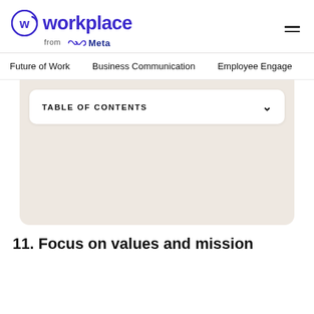workplace from Meta
Future of Work    Business Communication    Employee Engage
[Figure (other): Table of Contents collapsed section with chevron down arrow, on a beige/cream background panel]
11. Focus on values and mission